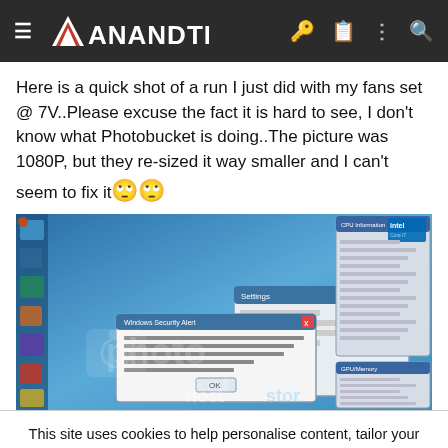AnandTech
Here is a quick shot of a run I just did with my fans set @ 7V..Please excuse the fact it is hard to see, I don't know what Photobucket is doing..The picture was 1080P, but they re-sized it way smaller and I can't seem to fix it 🙄🙄
[Figure (screenshot): Screenshot of a Windows 7 desktop with multiple open windows including what appears to be CPU-Z and other system diagnostic software, with a Photobucket watermark overlay.]
This site uses cookies to help personalise content, tailor your experience and to keep you logged in if you register.
By continuing to use this site, you are consenting to our use of cookies.
Your Pet's Summer Essentials